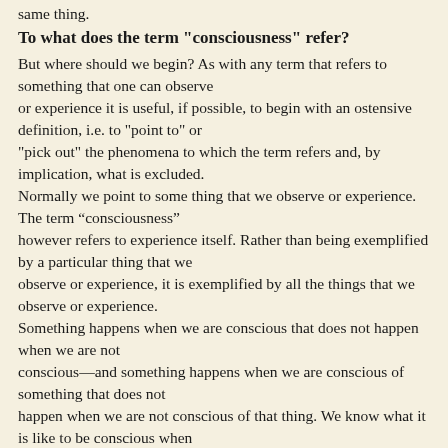same thing.
To what does the term "consciousness" refer?
But where should we begin? As with any term that refers to something that one can observe or experience it is useful, if possible, to begin with an ostensive definition, i.e. to "point to" or "pick out" the phenomena to which the term refers and, by implication, what is excluded. Normally we point to some thing that we observe or experience. The term “consciousness” however refers to experience itself. Rather than being exemplified by a particular thing that we observe or experience, it is exemplified by all the things that we observe or experience. Something happens when we are conscious that does not happen when we are not conscious—and something happens when we are conscious of something that does not happen when we are not conscious of that thing. We know what it is like to be conscious when we are awake as opposed to not being conscious when in dreamless sleep. We also know what